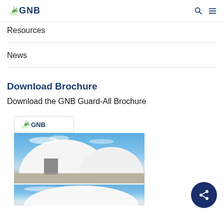GNB [logo] [search] [menu]
Resources
News
Download Brochure
Download the GNB Guard-All Brochure
[Figure (photo): GNB Guard-All brochure preview showing GNB logo and a white dome-shaped storage building against a blue sky, with a second partial building image below.]